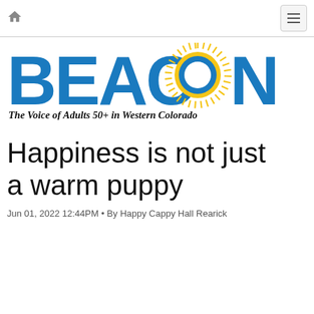Home | Menu
[Figure (logo): BEACON logo with sun replacing letter O, tagline: The Voice of Adults 50+ in Western Colorado]
Happiness is not just a warm puppy
Jun 01, 2022 12:44PM • By Happy Cappy Hall Rearick